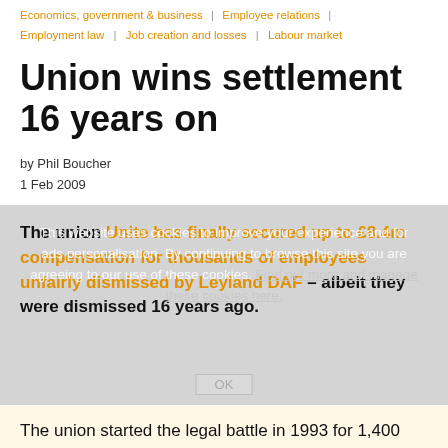Economics, government & business | Employee relations | Employment law | Job creation and losses | Labour market
Union wins settlement 16 years on
by Phil Boucher
1 Feb 2009
This website uses cookies to improve your experience and for ads personalisation. By continuing to browse this site you are agreeing to our use of these cookies. Find out more and manage these cookies here.
The union Unite has finally secured up to £8.4m compensation for thousands of employees unfairly dismissed by Leyland DAF – albeit they were dismissed 16 years ago.
The union started the legal battle in 1993 for 1,400 employees after the truck and van manufacturer went